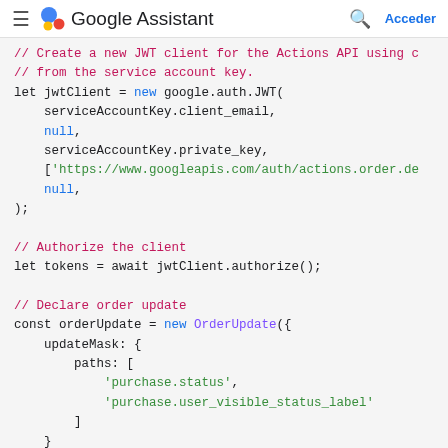Google Assistant — navigation bar with hamburger menu, Google Assistant logo, search icon, and Acceder link
[Figure (screenshot): Code snippet showing JavaScript code for creating a JWT client using the Actions API, authorizing it, and declaring an order update with updateMask paths for purchase.status and purchase.user_visible_status_label.]